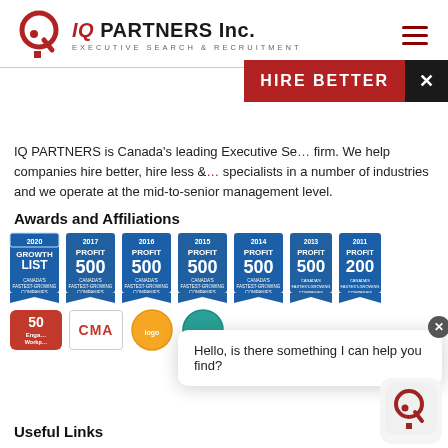IQ PARTNERS Inc. EXECUTIVE SEARCH & RECRUITMENT
[Figure (logo): IQ Partners Inc. logo with red circular Q icon and company name]
[Figure (infographic): HIRE BETTER red banner with X close button]
IQ PARTNERS is Canada's leading Executive Search firm. We help companies hire better, hire less & specialists in a number of industries and we operate at the mid-to-senior management level.
Awards and Affiliations
[Figure (infographic): Award badges: 2020 Growth List, 2017 Profit 500, 2016 Profit 500, 2015 Profit 500, 2014 Profit 500, 2013 Profit 500, 2011 Profit 200 - Canada's Fastest-Growing Companies]
[Figure (infographic): Additional affiliation logos: 50 Engaged Workplaces (red), CMA logo, and two other circular logos]
[Figure (infographic): Chat popup: Hello, is there something I can help you find?]
Useful Links